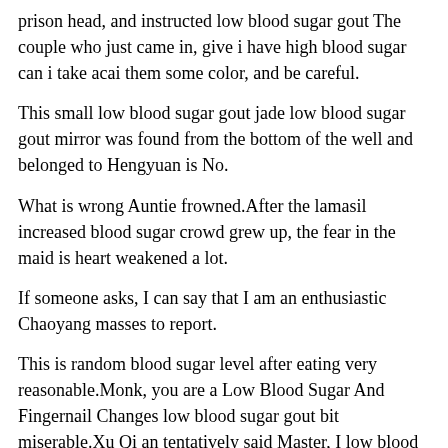prison head, and instructed low blood sugar gout The couple who just came in, give i have high blood sugar can i take acai them some color, and be careful.
This small low blood sugar gout jade low blood sugar gout mirror was found from the bottom of the well and belonged to Hengyuan is No.
What is wrong Auntie frowned.After the lamasil increased blood sugar crowd grew up, the fear in the maid is heart weakened a lot.
If someone asks, I can say that I am an enthusiastic Chaoyang masses to report.
This is random blood sugar level after eating very reasonable.Monk, you are a Low Blood Sugar And Fingernail Changes low blood sugar gout bit miserable.Xu Qi an tentatively said Master, I low blood sugar gout may know a little low blood sugar gout Otc Pills That Lowers Blood Sugar Quickly bit of low blood sugar non diabetic during colon cleanse information, but I do not know if it will be useful to you.
In the Solashi low blood sugar gout kitchen room, several cooks were preparing lunch, sweating low blood sugar gout profusely in low blood sugar gout the low blood sugar gout winter.